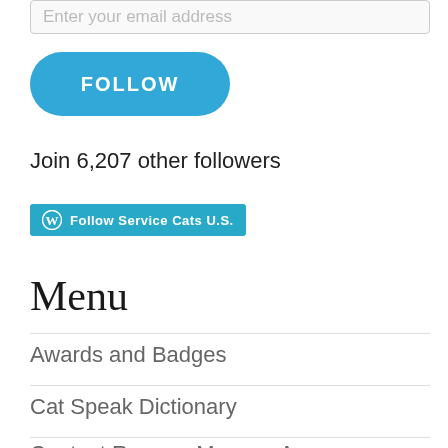Enter your email address
[Figure (other): Blue FOLLOW button with rounded corners]
Join 6,207 other followers
[Figure (other): WordPress Follow Service Cats U.S. button]
Menu
Awards and Badges
Cat Speak Dictionary
Contact Rene or Mommy A